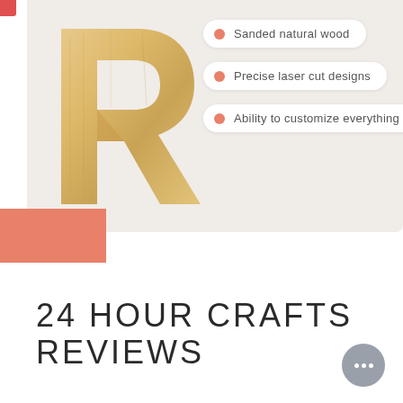[Figure (photo): A wooden letter R cutout on a light beige/cream background, showing natural wood grain texture]
Sanded natural wood
Precise laser cut designs
Ability to customize everything
24 HOUR CRAFTS REVIEWS